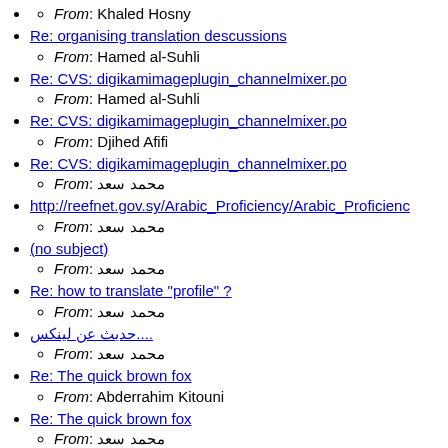From: Khaled Hosny
Re: organising translation descussions
From: Hamed al-Suhli
Re: CVS: digikamimageplugin_channelmixer.po
From: Hamed al-Suhli
Re: CVS: digikamimageplugin_channelmixer.po
From: Djihed Afifi
Re: CVS: digikamimageplugin_channelmixer.po
From: محمد سعد
http://reefnet.gov.sy/Arabic_Proficiency/Arabic_Proficiency
From: محمد سعد
(no subject)
From: محمد سعد
Re: how to translate "profile" ?
From: محمد سعد
....حديث عن لينكس
From: محمد سعد
Re: The quick brown fox
From: Abderrahim Kitouni
Re: The quick brown fox
From: محمد سعد
OpenOffice.org translation
From: Ossama Khayat
Re: The quick brown fox
From: Mohamed Magdy